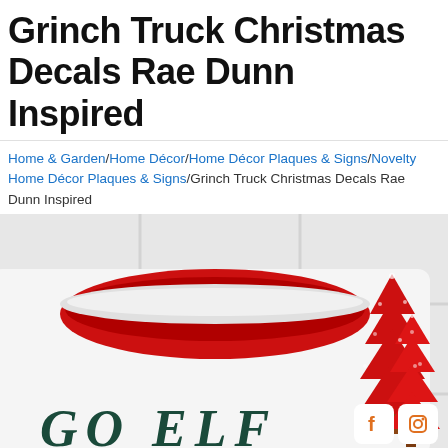Grinch Truck Christmas Decals Rae Dunn Inspired
Home & Garden/Home Décor/Home Décor Plaques & Signs/Novelty Home Décor Plaques & Signs/Grinch Truck Christmas Decals Rae Dunn Inspired
[Figure (photo): Close-up photo of a white ceramic mug with red interior showing text 'GO ELF' in dark green letters, styled in Rae Dunn font, placed on a white tile surface with red glitter Christmas trees in the background. Facebook and Instagram social media icons visible in bottom right corner.]